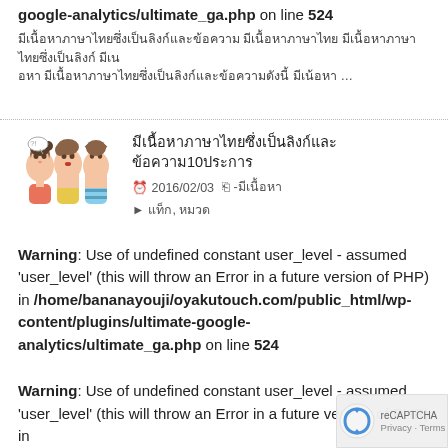google-analytics/ultimate_ga.php on line 524
มีเนื้อหาภาษาไทยซึ่งเป็นลิงก์และข้อความ ...
บทความที่น่าสนใจสำหรับผู้ที่ต้องการเรียนรู้10ประการ
2016/02/03   -ประเภท
แท็ก, หมวด
[Figure (illustration): Cartoon illustration of three people with surprised/curious expressions]
Warning: Use of undefined constant user_level - assumed 'user_level' (this will throw an Error in a future version of PHP) in /home/bananayouji/oyakutouch.com/public_html/wp-content/plugins/ultimate-google-analytics/ultimate_ga.php on line 524
Warning: Use of undefined constant user_level - assumed 'user_level' (this will throw an Error in a future version of PHP) in /home/bananayouji/oyakutouch.com/pu